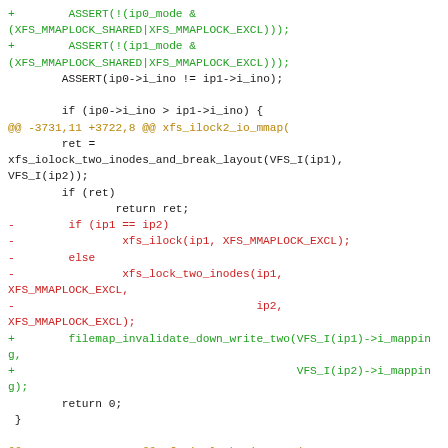[Figure (screenshot): Code diff snippet showing changes to XFS ilock2 io mmap and xfs iunlock2 io mmap functions, with added lines in green, removed lines in red, and diff hunk headers in gold/brown.]